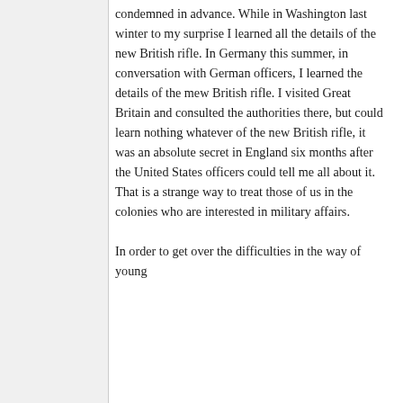condemned in advance. While in Washington last winter to my surprise I learned all the details of the new British rifle. In Germany this summer, in conversation with German officers, I learned the details of the mew British rifle. I visited Great Britain and consulted the authorities there, but could learn nothing whatever of the new British rifle, it was an absolute secret in England six months after the United States officers could tell me all about it. That is a strange way to treat those of us in the colonies who are interested in military affairs.
In order to get over the difficulties in the way of young